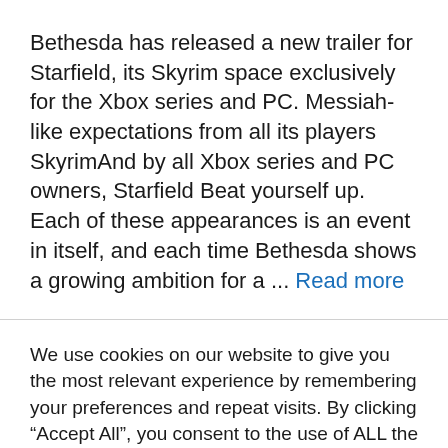Bethesda has released a new trailer for Starfield, its Skyrim space exclusively for the Xbox series and PC. Messiah-like expectations from all its players SkyrimAnd by all Xbox series and PC owners, Starfield Beat yourself up. Each of these appearances is an event in itself, and each time Bethesda shows a growing ambition for a ... Read more
We use cookies on our website to give you the most relevant experience by remembering your preferences and repeat visits. By clicking "Accept All", you consent to the use of ALL the cookies. However, you may visit "Cookie Settings" to provide a controlled consent.